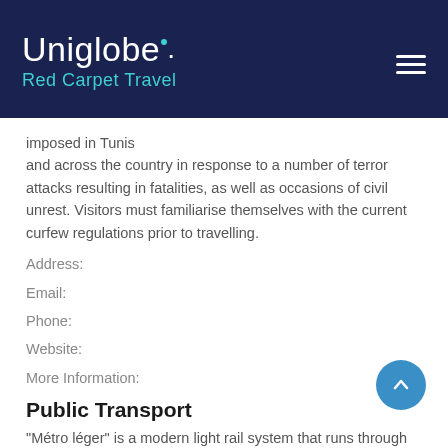Uniglobe. Red Carpet Travel
imposed in Tunis and across the country in response to a number of terror attacks resulting in fatalities, as well as occasions of civil unrest. Visitors must familiarise themselves with the current curfew regulations prior to travelling.
Address:
Email:
Phone:
Website:
More Information:
Public Transport
"Métro léger" is a modern light rail system that runs through the city